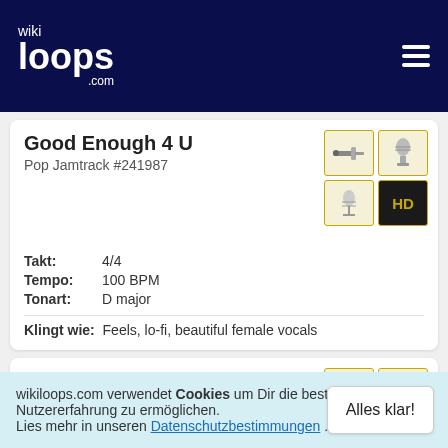wikiloops.com
Good Enough 4 U
Pop Jamtrack #241987
[Figure (illustration): Instrument icons: guitar pick/cable and microphone, microphone and HD badge]
Takt: 4/4
Tempo: 100 BPM
Tonart: D major
Klingt wie: Feels, lo-fi, beautiful female vocals
Half Way
Jazz-Rock Jamtrack #235617
[Figure (illustration): Instrument icons: drum and keyboard, sheet music and HD badge]
wikiloops.com verwendet Cookies um Dir die beste Nutzererfahrung zu ermöglichen. Lies mehr in unseren Datenschutzbestimmungen .